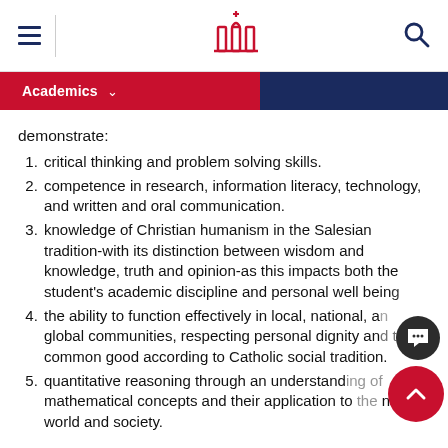Academics
demonstrate:
critical thinking and problem solving skills.
competence in research, information literacy, technology, and written and oral communication.
knowledge of Christian humanism in the Salesian tradition-with its distinction between wisdom and knowledge, truth and opinion-as this impacts both the student's academic discipline and personal well being
the ability to function effectively in local, national, and global communities, respecting personal dignity and the common good according to Catholic social tradition.
quantitative reasoning through an understanding of mathematical concepts and their application to the natural world and society.